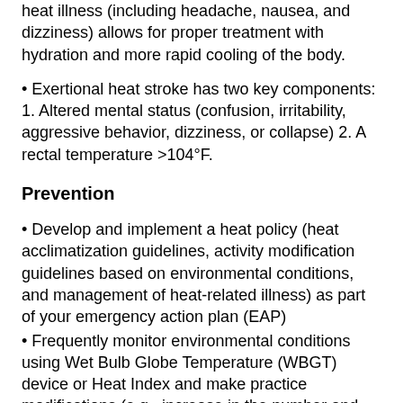heat illness (including headache, nausea, and dizziness) allows for proper treatment with hydration and more rapid cooling of the body.
• Exertional heat stroke has two key components: 1. Altered mental status (confusion, irritability, aggressive behavior, dizziness, or collapse) 2. A rectal temperature >104°F.
Prevention
• Develop and implement a heat policy (heat acclimatization guidelines, activity modification guidelines based on environmental conditions, and management of heat-related illness) as part of your emergency action plan (EAP)
• Frequently monitor environmental conditions using Wet Bulb Globe Temperature (WBGT) device or Heat Index and make practice modifications (e.g., increase in the number and duration of hydration breaks, shortening practice, postponing practice/competition until cooler parts of the day)
• Follow heat acclimatization guidelines (below) during